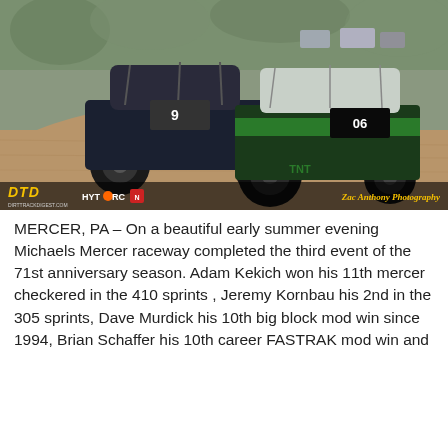[Figure (photo): Two dirt track racing cars on a dirt oval track, one dark car in background and one green/white #06 car in foreground. Bottom overlay shows DTD (DirtTrackDigest.com) logo in yellow, HYTORC logo, and Zac Anthony Photography credit in yellow italic text.]
MERCER, PA – On a beautiful early summer evening Michaels Mercer raceway completed the third event of the 71st anniversary season. Adam Kekich won his 11th mercer checkered in the 410 sprints , Jeremy Kornbau his 2nd in the 305 sprints, Dave Murdick his 10th big block mod win since 1994, Brian Schaffer his 10th career FASTRAK mod win and Andy Thompson his 8th career mini stock win. The entire...